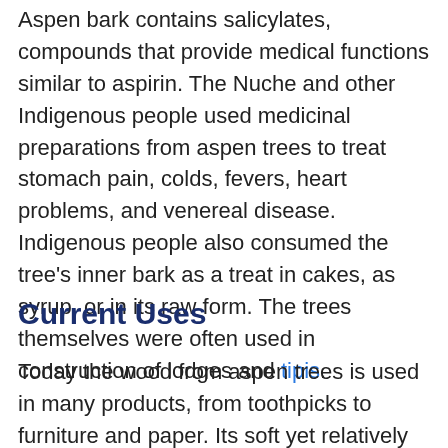Aspen bark contains salicylates, compounds that provide medical functions similar to aspirin. The Nuche and other Indigenous people used medicinal preparations from aspen trees to treat stomach pain, colds, fevers, heart problems, and venereal disease. Indigenous people also consumed the tree's inner bark as a treat in cakes, as syrup, or in its raw form. The trees themselves were often used in construction of lodges and tipis.
Current Uses
Today the wood from aspen trees is used in many products, from toothpicks to furniture and paper. Its soft yet relatively strong wood is also used to